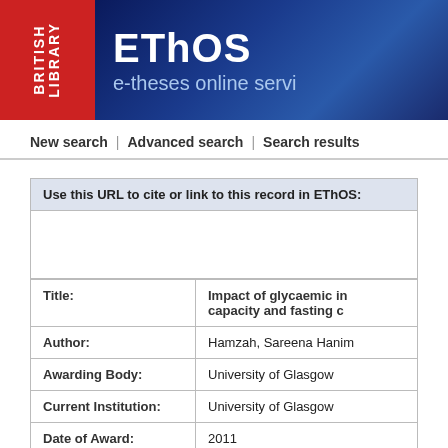[Figure (logo): British Library EThOS e-theses online service banner with red British Library logo and dark blue background]
New search | Advanced search | Search results
Use this URL to cite or link to this record in EThOS:
| Field | Value |
| --- | --- |
| Title: | Impact of glycaemic index on exercise capacity and fasting c… |
| Author: | Hamzah, Sareena Hanim |
| Awarding Body: | University of Glasgow |
| Current Institution: | University of Glasgow |
| Date of Award: | 2011 |